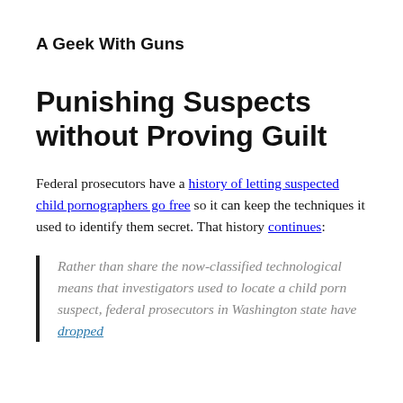A Geek With Guns
Punishing Suspects without Proving Guilt
Federal prosecutors have a history of letting suspected child pornographers go free so it can keep the techniques it used to identify them secret. That history continues:
Rather than share the now-classified technological means that investigators used to locate a child porn suspect, federal prosecutors in Washington state have dropped